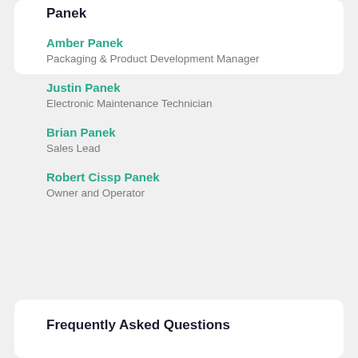Panek
Amber Panek
Packaging & Product Development Manager
Justin Panek
Electronic Maintenance Technician
Brian Panek
Sales Lead
Robert Cissp Panek
Owner and Operator
Frequently Asked Questions